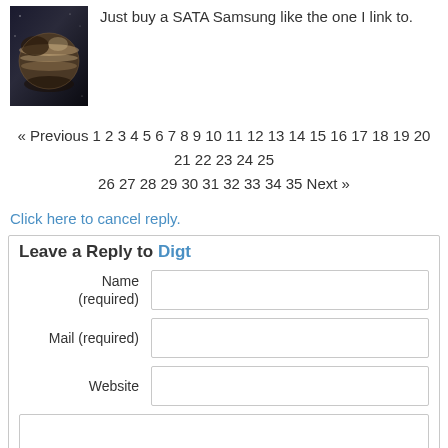[Figure (photo): Thumbnail image of a planet (possibly Jupiter) with swirling clouds, dark and light tones]
Just buy a SATA Samsung like the one I link to.
« Previous 1 2 3 4 5 6 7 8 9 10 11 12 13 14 15 16 17 18 19 20 21 22 23 24 25 26 27 28 29 30 31 32 33 34 35 Next »
Click here to cancel reply.
Leave a Reply to Digt
Name (required)
Mail (required)
Website